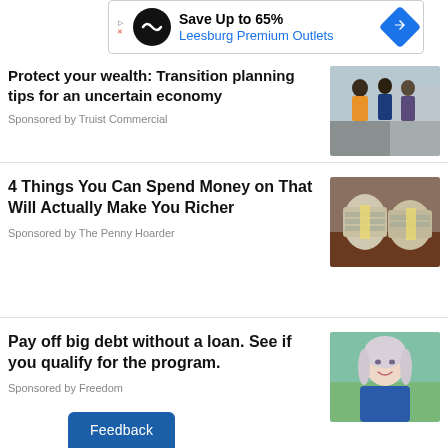[Figure (other): Advertisement banner for Leesburg Premium Outlets showing Save Up to 65%]
Protect your wealth: Transition planning tips for an uncertain economy
Sponsored by Truist Commercial
[Figure (photo): People in a business office setting]
4 Things You Can Spend Money on That Will Actually Make You Richer
Sponsored by The Penny Hoarder
[Figure (photo): Two bundles of cash money on a table]
Pay off big debt without a loan. See if you qualify for the program.
Sponsored by Freedom
[Figure (photo): Smiling woman with silver hair outdoors]
Feedback